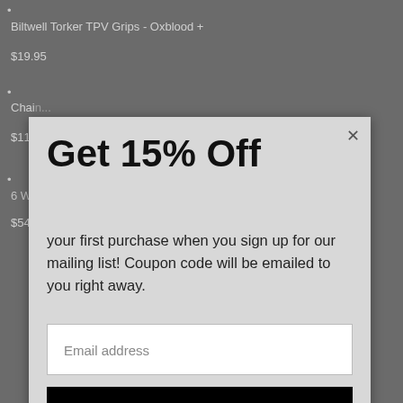Biltwell Torker TPV Grips - Oxblood +
$19.95
Chain...
$11.50
6 Week Basic Motorcycle Mechanics Course
$549.00
Get 15% Off
your first purchase when you sign up for our mailing list! Coupon code will be emailed to you right away.
Email address
Subscribe
NAVIGATION
Search   About us
JOIN OUR MAILING LIST